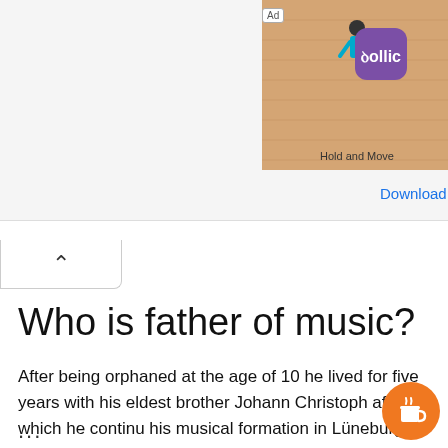[Figure (screenshot): Advertisement banner showing a mobile game (Hold and Move) with Follic app icon and Download link]
[Figure (other): Collapse/chevron up button below the ad banner]
Who is father of music?
After being orphaned at the age of 10 he lived for five years with his eldest brother Johann Christoph after which he continued his musical formation in Lüneburg.
...